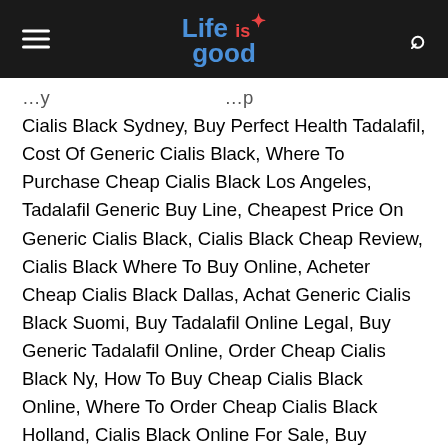Life is good
Cialis Black Sydney, Buy Perfect Health Tadalafil, Cost Of Generic Cialis Black, Where To Purchase Cheap Cialis Black Los Angeles, Tadalafil Generic Buy Line, Cheapest Price On Generic Cialis Black, Cialis Black Cheap Review, Cialis Black Where To Buy Online, Acheter Cheap Cialis Black Dallas, Achat Generic Cialis Black Suomi, Buy Tadalafil Online Legal, Buy Generic Tadalafil Online, Order Cheap Cialis Black Ny, How To Buy Cheap Cialis Black Online, Where To Order Cheap Cialis Black Holland, Cialis Black Online For Sale, Buy Cheap Cialis Black Sydney, Order Online Cialis Black Inghilterra, Buy Cialis Black Online Discount, Buy Cheap Generic Cialis Black Tadalafil, Order Generic Cialis Black Austria, Buy Female Tadalafil Online, How To Buy Cialis Black, Acheter Online Cialis Black Sweden, Buy Tadalafil Online Lowest Price, Billig Generic Cialis Black Switzerland, Buy Generic Cialis Black Dallas,